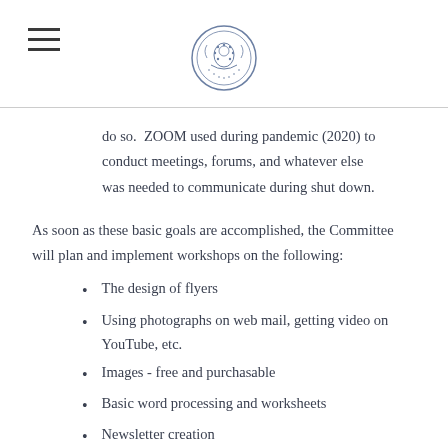[hamburger menu icon] [organization seal logo]
do so.  ZOOM used during pandemic (2020) to conduct meetings, forums, and whatever else was needed to communicate during shut down.
As soon as these basic goals are accomplished, the Committee will plan and implement workshops on the following:
The design of flyers
Using photographs on web mail, getting video on YouTube, etc.
Images - free and purchasable
Basic word processing and worksheets
Newsletter creation